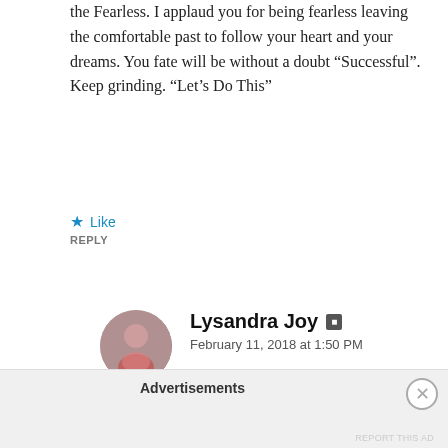the Fearless. I applaud you for being fearless leaving the comfortable past to follow your heart and your dreams. You fate will be without a doubt “Successful”. Keep grinding. “Let’s Do This”
★ Like
REPLY
Lysandra Joy █
February 11, 2018 at 1:50 PM
Yes! Let’s do it!! 🤧
Advertisements